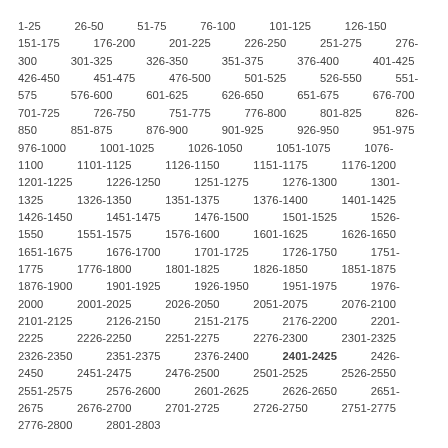1-25  26-50  51-75  76-100  101-125  126-150  151-175  176-200  201-225  226-250  251-275  276-300  301-325  326-350  351-375  376-400  401-425  426-450  451-475  476-500  501-525  526-550  551-575  576-600  601-625  626-650  651-675  676-700  701-725  726-750  751-775  776-800  801-825  826-850  851-875  876-900  901-925  926-950  951-975  976-1000  1001-1025  1026-1050  1051-1075  1076-1100  1101-1125  1126-1150  1151-1175  1176-1200  1201-1225  1226-1250  1251-1275  1276-1300  1301-1325  1326-1350  1351-1375  1376-1400  1401-1425  1426-1450  1451-1475  1476-1500  1501-1525  1526-1550  1551-1575  1576-1600  1601-1625  1626-1650  1651-1675  1676-1700  1701-1725  1726-1750  1751-1775  1776-1800  1801-1825  1826-1850  1851-1875  1876-1900  1901-1925  1926-1950  1951-1975  1976-2000  2001-2025  2026-2050  2051-2075  2076-2100  2101-2125  2126-2150  2151-2175  2176-2200  2201-2225  2226-2250  2251-2275  2276-2300  2301-2325  2326-2350  2351-2375  2376-2400  2401-2425  2426-2450  2451-2475  2476-2500  2501-2525  2526-2550  2551-2575  2576-2600  2601-2625  2626-2650  2651-2675  2676-2700  2701-2725  2726-2750  2751-2775  2776-2800  2801-2803